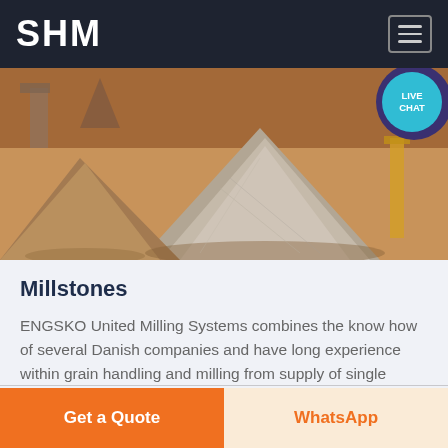SHM
[Figure (photo): Aerial/ground-level photo of a mining or quarrying site showing large conical mounds of crushed stone/gravel aggregate material in shades of gray and brown, with industrial equipment and reddish earth in the background. A teal 'LIVE CHAT' speech bubble icon is overlaid in the upper right corner.]
Millstones
ENGSKO United Milling Systems combines the know how of several Danish companies and have long experience within grain handling and milling from supply of single stone grinding mills to complete milling plants Read more..
Get a Quote
WhatsApp